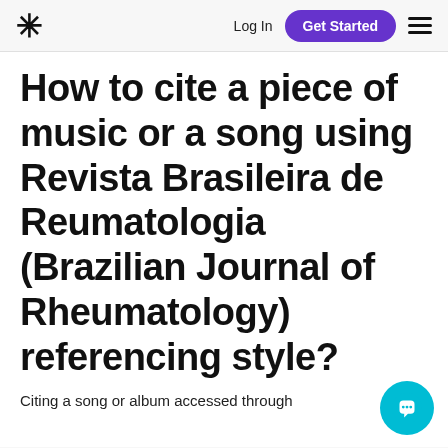* Log In  Get Started ≡
How to cite a piece of music or a song using Revista Brasileira de Reumatologia (Brazilian Journal of Rheumatology) referencing style?
Citing a song or album accessed through